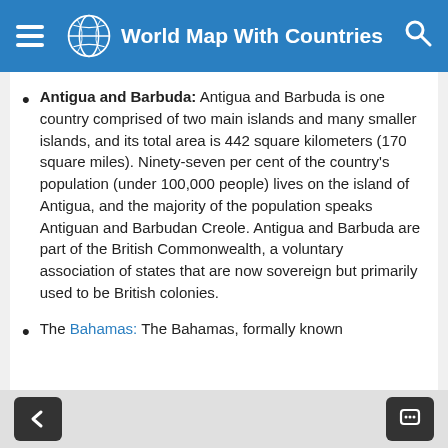World Map With Countries
Antigua and Barbuda: Antigua and Barbuda is one country comprised of two main islands and many smaller islands, and its total area is 442 square kilometers (170 square miles). Ninety-seven per cent of the country's population (under 100,000 people) lives on the island of Antigua, and the majority of the population speaks Antiguan and Barbudan Creole. Antigua and Barbuda are part of the British Commonwealth, a voluntary association of states that are now sovereign but primarily used to be British colonies.
The Bahamas: The Bahamas, formally known
< [navigation button] [chat button]